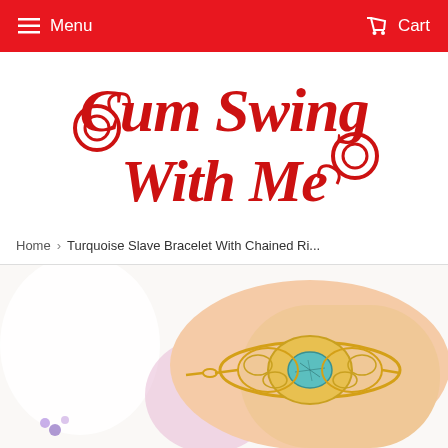Menu   Cart
[Figure (logo): Cum Swing With Me script logo in red]
Home › Turquoise Slave Bracelet With Chained Ri...
[Figure (photo): Close-up photo of a gold filigree bracelet with a turquoise stone worn on a wrist, soft pink and white background]